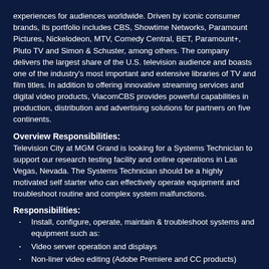experiences for audiences worldwide. Driven by iconic consumer brands, its portfolio includes CBS, Showtime Networks, Paramount Pictures, Nickelodeon, MTV, Comedy Central, BET, Paramount+, Pluto TV and Simon & Schuster, among others. The company delivers the largest share of the U.S. television audience and boasts one of the industry's most important and extensive libraries of TV and film titles. In addition to offering innovative streaming services and digital video products, ViacomCBS provides powerful capabilities in production, distribution and advertising solutions for partners on five continents.
Overview Responsibilities:
Television City at MGM Grand is looking for a Systems Technician to support our research testing facility and online operations in Las Vegas, Nevada. The Systems Technician should be a highly motivated self starter who can effectively operate equipment and troubleshoot routine and complex system malfunctions.
Responsibilities:
Install, configure, operate, maintain & troubleshoot systems and equipment such as:
Video server operation and displays
Non-liner video editing (Adobe Premiere and CC products)